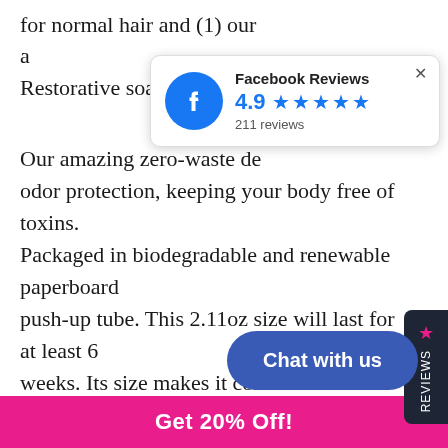for normal hair and (1) our a[...] Restorative soap bar.
[Figure (infographic): Facebook Reviews popup showing rating of 4.9 stars with 211 reviews]
Our amazing zero-waste de[...] odor protection, keeping your body free of toxins. Packaged in biodegradable and renewable paperboard push-up tube. This 2.11oz size will last for at least 6 weeks. Its size makes it convenient for home, gym bag, travel, or anywhere.
Our awesome body powder is a better, fresher, safer alternative for a body deodorant. Made with only 5 powerful natural ingredients: *Arrowroot *Baking Sod[...] Zinc Oxide * Lavandin essential oil * citrus seed extract. Naturally neutralizes body odor inste[...] up. Our all-natural formula is so safe, th[...]
Chat with us
Get 20% Off!